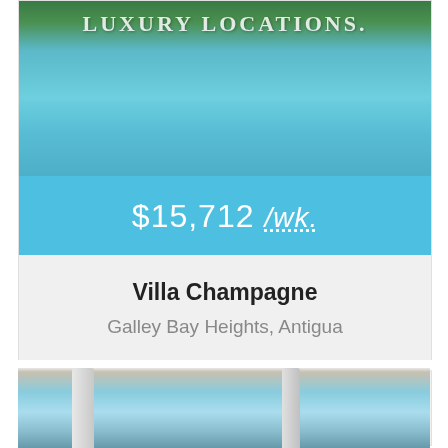[Figure (photo): Aerial/elevated view of an infinity pool with turquoise water and lush green vegetation and sea in background. Luxury Locations logo visible at top.]
$15,712 /wk.
Villa Champagne
Galley Bay Heights, Antigua
View Property >
[Figure (photo): Partial view of a property with white classical columns and ocean/sea view in the background.]